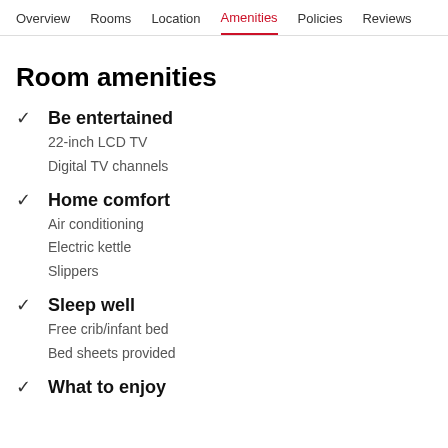Overview  Rooms  Location  Amenities  Policies  Reviews
Room amenities
Be entertained
22-inch LCD TV
Digital TV channels
Home comfort
Air conditioning
Electric kettle
Slippers
Sleep well
Free crib/infant bed
Bed sheets provided
What to enjoy